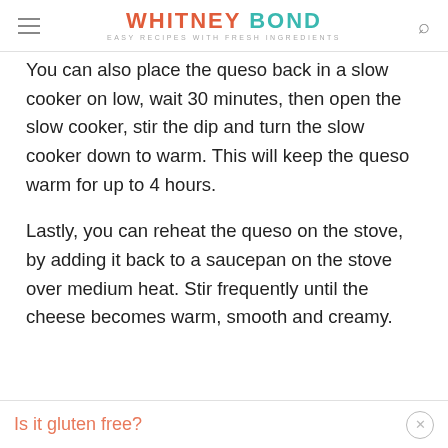WHITNEY BOND — EASY RECIPES WITH FRESH INGREDIENTS
You can also place the queso back in a slow cooker on low, wait 30 minutes, then open the slow cooker, stir the dip and turn the slow cooker down to warm. This will keep the queso warm for up to 4 hours.
Lastly, you can reheat the queso on the stove, by adding it back to a saucepan on the stove over medium heat. Stir frequently until the cheese becomes warm, smooth and creamy.
Is it gluten free?